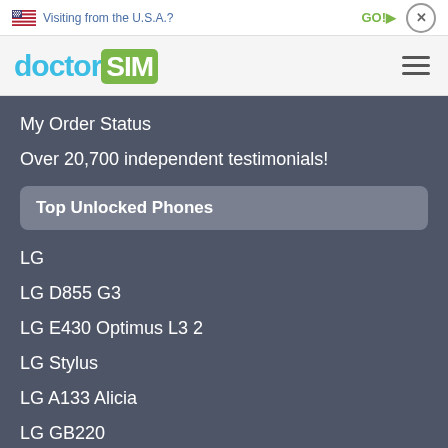Visiting from the U.S.A.?
GO!>
x
[Figure (logo): doctorSIM logo with 'doctor' in cyan and 'SIM' in white on green background]
My Order Status
Over 20,700 independent testimonials!
Top Unlocked Phones
LG
LG D855 G3
LG E430 Optimus L3 2
LG Stylus
LG A133 Alicia
LG GB220